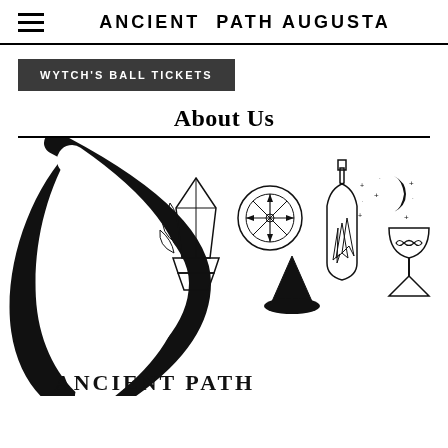ANCIENT PATH AUGUSTA
WYTCH'S BALL TICKETS
About Us
[Figure (logo): Ancient Path Augusta logo: large black crescent moon on the left, with illustrated mystical items in the center (crystal point with botanicals, a wheel/compass symbol, black witch hat, crystal bottle/terrarium, moon and stars, hourglass/chalice with infinity symbol), and the text 'ANCIENT PATH' at the bottom.]